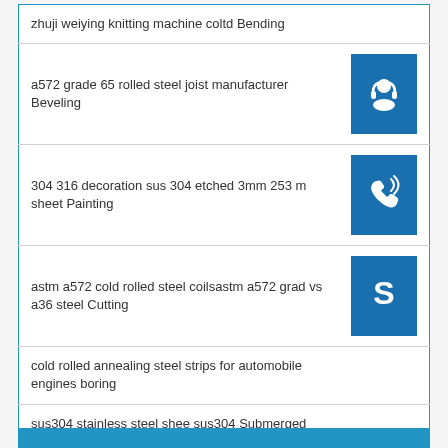| zhuji weiying knitting machine coltd Bending |  |
| a572 grade 65 rolled steel joist manufacturer Beveling | [headset icon] |
| 304 316 decoration sus 304 etched 3mm 253 m sheet Painting | [phone icon] |
| astm a572 cold rolled steel coilsastm a572 grad vs a36 steel Cutting | [skype icon] |
| cold rolled annealing steel strips for automobile engines boring |  |
| sus304 stainless steel shee sus304 Submerged arc welding |  |
[Figure (other): Blue bottom bar / footer bar]